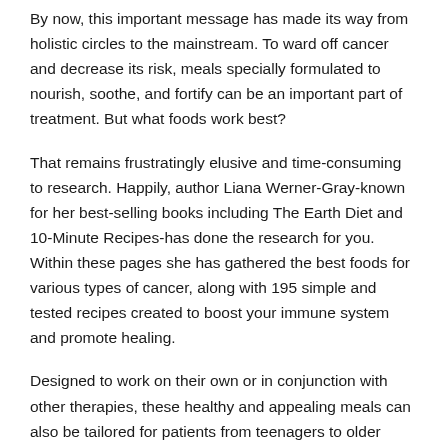By now, this important message has made its way from holistic circles to the mainstream. To ward off cancer and decrease its risk, meals specially formulated to nourish, soothe, and fortify can be an important part of treatment. But what foods work best?
That remains frustratingly elusive and time-consuming to research. Happily, author Liana Werner-Gray-known for her best-selling books including The Earth Diet and 10-Minute Recipes-has done the research for you. Within these pages she has gathered the best foods for various types of cancer, along with 195 simple and tested recipes created to boost your immune system and promote healing.
Designed to work on their own or in conjunction with other therapies, these healthy and appealing meals can also be tailored for patients from teenagers to older adults. E...